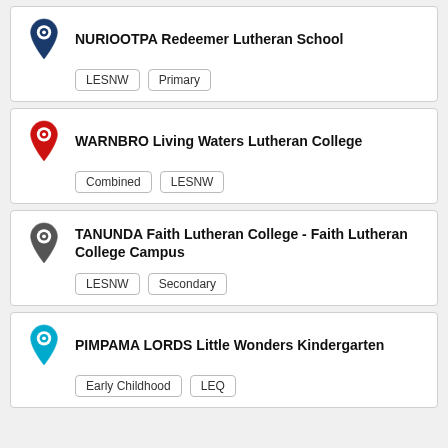NURIOOTPA Redeemer Lutheran School | Tags: LESNW, Primary
WARNBRO Living Waters Lutheran College | Tags: Combined, LESNW
TANUNDA Faith Lutheran College - Faith Lutheran College Campus | Tags: LESNW, Secondary
PIMPAMA LORDS Little Wonders Kindergarten | Tags: Early Childhood, LEQ